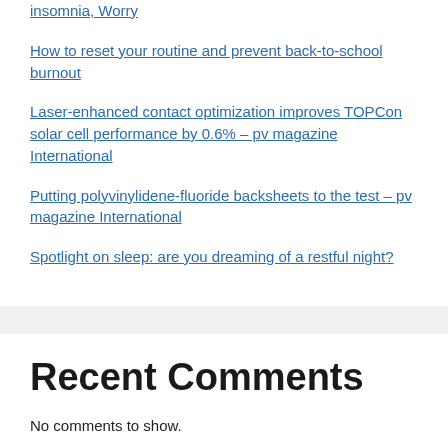insomnia, Worry
How to reset your routine and prevent back-to-school burnout
Laser-enhanced contact optimization improves TOPCon solar cell performance by 0.6% – pv magazine International
Putting polyvinylidene-fluoride backsheets to the test – pv magazine International
Spotlight on sleep: are you dreaming of a restful night?
Recent Comments
No comments to show.